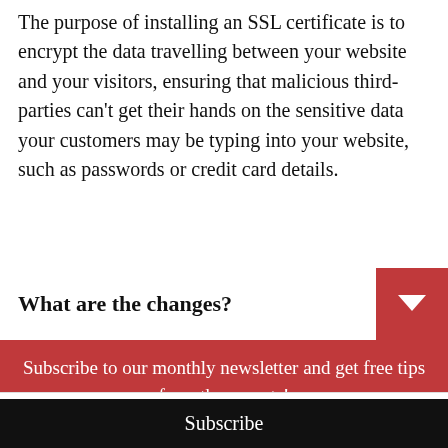The purpose of installing an SSL certificate is to encrypt the data travelling between your website and your visitors, ensuring that malicious third-parties can't get their hands on the sensitive data your customers may be typing into your website, such as passwords or credit card details.
What are the changes?
Subscribe to our monthly newsletter and get free tips from the experts!
Your email address..
Subscribe